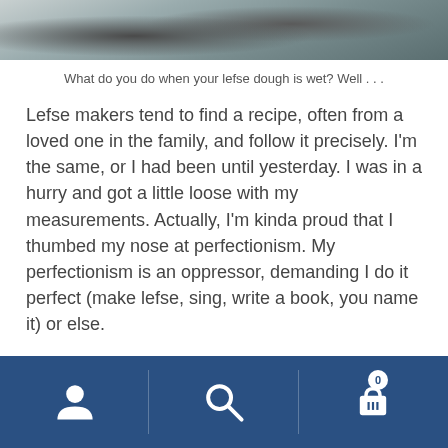[Figure (photo): Partial photo of what appears to be a lefse dough or snowy surface, cropped at the top of the page]
What do you do when your lefse dough is wet? Well . . .
Lefse makers tend to find a recipe, often from a loved one in the family, and follow it precisely. I'm the same, or I had been until yesterday. I was in a hurry and got a little loose with my measurements. Actually, I'm kinda proud that I thumbed my nose at perfectionism. My perfectionism is an oppressor, demanding I do it perfect (make lefse, sing, write a book, you name it) or else.
Well, this batch of lefse dough was not done perfectly. I had added too much butter and cream, so the dough turned out wet.
[Figure (screenshot): Navigation footer bar with dark blue background containing three icons: user/person icon on left, search/magnifying glass icon in center, shopping cart icon with badge showing '0' on right]